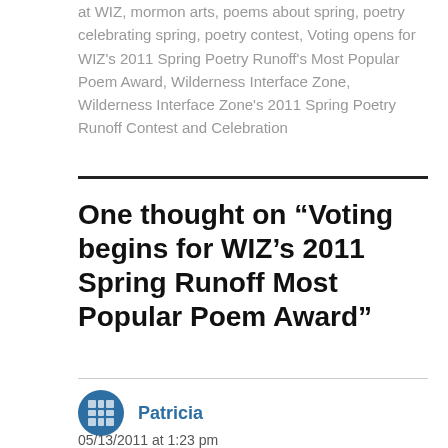at WIZ, mormon arts, poems about spring, poetry celebrating spring, poetry contest, Voting opens for WIZ's 2011 Spring Poetry Runoff's Most Popular Poem Award, Wilderness Interface Zone, Wilderness Interface Zone's 2011 Spring Poetry Runoff Contest and Celebration
One thought on “Voting begins for WIZ’s 2011 Spring Runoff Most Popular Poem Award”
Patricia
05/13/2011 at 1:23 pm